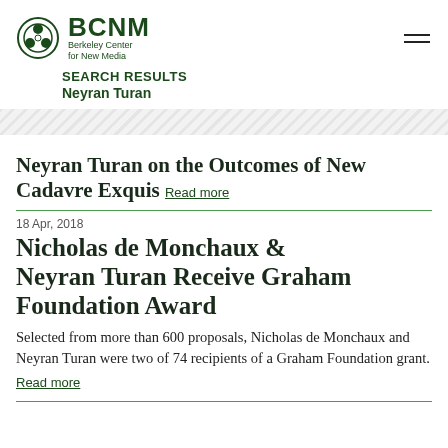BCNM Berkeley Center for New Media
SEARCH RESULTS
Neyran Turan
Neyran Turan on the Outcomes of New Cadavre Exquis Read more
18 Apr, 2018
Nicholas de Monchaux & Neyran Turan Receive Graham Foundation Award
Selected from more than 600 proposals, Nicholas de Monchaux and Neyran Turan were two of 74 recipients of a Graham Foundation grant.
Read more